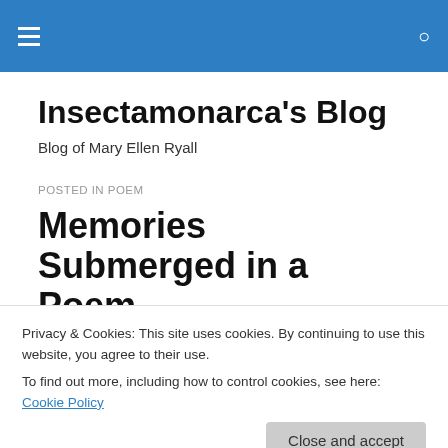Insectamonarca's Blog — navigation bar with hamburger menu and search icon
Insectamonarca's Blog
Blog of Mary Ellen Ryall
POSTED IN POEM
Memories Submerged in a Poem
Privacy & Cookies: This site uses cookies. By continuing to use this website, you agree to their use.
To find out more, including how to control cookies, see here: Cookie Policy
My grandmother, Ann Veronica